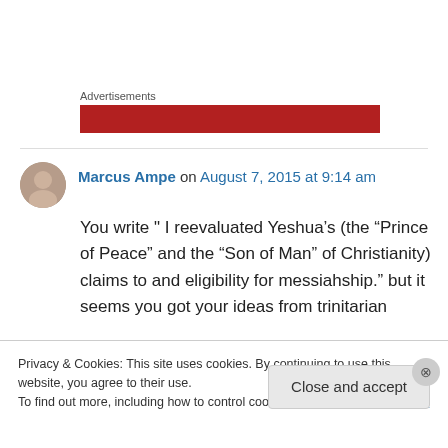Advertisements
[Figure (other): Red advertisement banner placeholder]
Marcus Ampe on August 7, 2015 at 9:14 am
You write " I reevaluated Yeshua’s (the “Prince of Peace” and the “Son of Man” of Christianity) claims to and eligibility for messiahship.” but it seems you got your ideas from trinitarian
Privacy & Cookies: This site uses cookies. By continuing to use this website, you agree to their use.
To find out more, including how to control cookies, see here: Cookie Policy